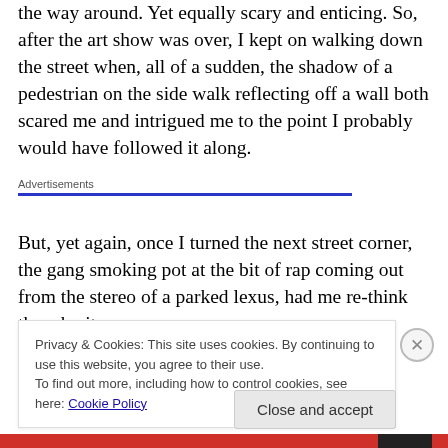the way around. Yet equally scary and enticing. So, after the art show was over, I kept on walking down the street when, all of a sudden, the shadow of a pedestrian on the side walk reflecting off a wall both scared me and intrigued me to the point I probably would have followed it along.
Advertisements
But, yet again, once I turned the next street corner, the gang smoking pot at the bit of rap coming out from the stereo of a parked lexus, had me re-think the why it was
Privacy & Cookies: This site uses cookies. By continuing to use this website, you agree to their use.
To find out more, including how to control cookies, see here: Cookie Policy